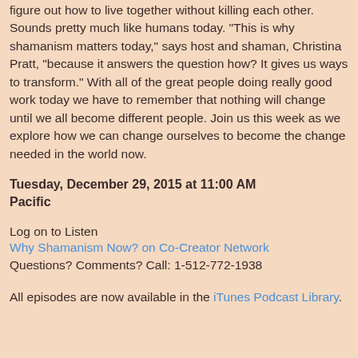figure out how to live together without killing each other. Sounds pretty much like humans today. "This is why shamanism matters today," says host and shaman, Christina Pratt, "because it answers the question how? It gives us ways to transform." With all of the great people doing really good work today we have to remember that nothing will change until we all become different people. Join us this week as we explore how we can change ourselves to become the change needed in the world now.
Tuesday, December 29, 2015 at 11:00 AM Pacific
Log on to Listen
Why Shamanism Now? on Co-Creator Network
Questions? Comments? Call: 1-512-772-1938
All episodes are now available in the iTunes Podcast Library.